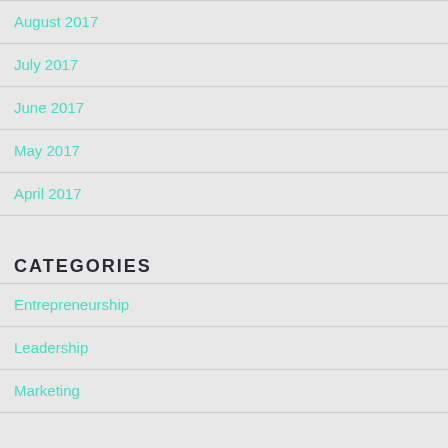August 2017
July 2017
June 2017
May 2017
April 2017
CATEGORIES
Entrepreneurship
Leadership
Marketing